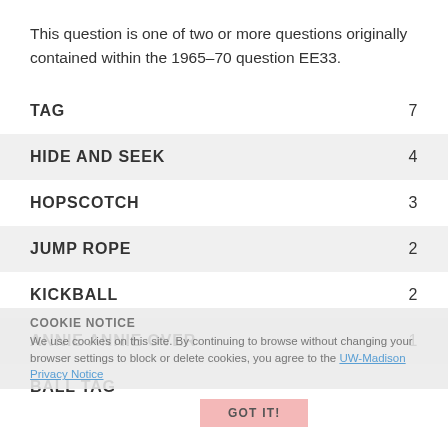This question is one of two or more questions originally contained within the 1965–70 question EE33.
|  |  |
| --- | --- |
| TAG | 7 |
| HIDE AND SEEK | 4 |
| HOPSCOTCH | 3 |
| JUMP ROPE | 2 |
| KICKBALL | 2 |
| ANNIE ANNIE OVER | 1 |
| BALL TAG |  |